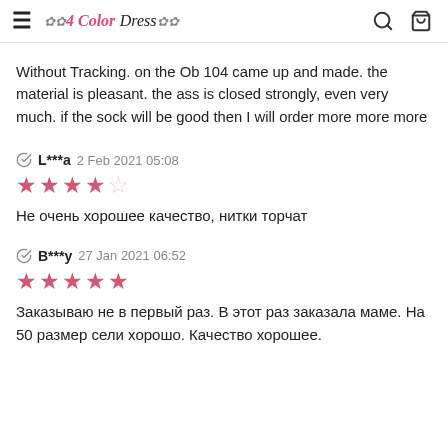4 Color Dress
Without Tracking. on the Ob 104 came up and made. the material is pleasant. the ass is closed strongly, even very much. if the sock will be good then I will order more more more
L***a 2 Feb 2021 05:08 ★★★★☆ Не очень хорошее качество, нитки торчат
B***y 27 Jan 2021 06:52 ★★★★★ Заказываю не в первый раз. В этот раз заказала маме. На 50 размер сели хорошо. Качество хорошее.